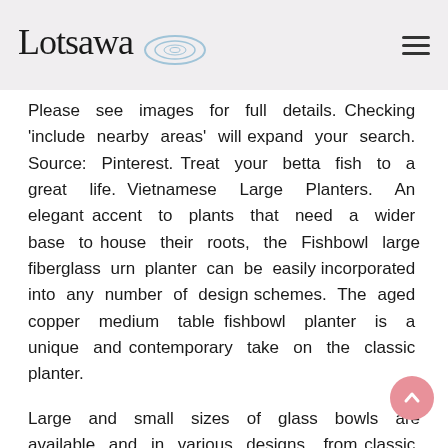Lotsawa
Please see images for full details. Checking 'include nearby areas' will expand your search. Source: Pinterest. Treat your betta fish to a great life. Vietnamese Large Planters. An elegant accent to plants that need a wider base to house their roots, the Fishbowl large fiberglass urn planter can be easily incorporated into any number of design schemes. The aged copper medium table fishbowl planter is a unique and contemporary take on the classic planter.
Large and small sizes of glass bowls are available and in various designs, from classic clear options to cut and etched glass patterns, including standard glass